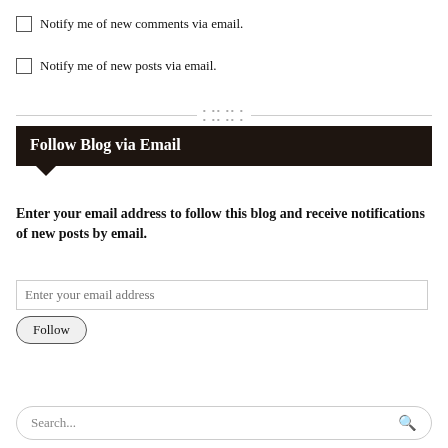Notify me of new comments via email.
Notify me of new posts via email.
Follow Blog via Email
Enter your email address to follow this blog and receive notifications of new posts by email.
Enter your email address
Follow
Search...